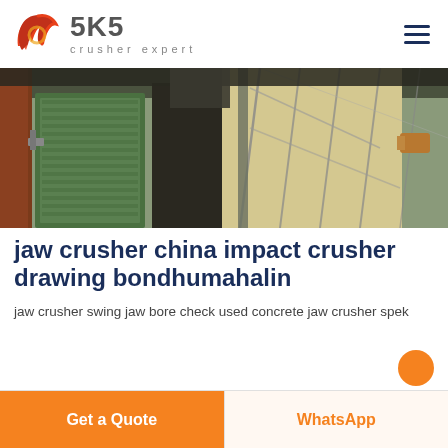[Figure (logo): SKS Crusher Expert logo with red swirl icon and dark grey SKS text with 'crusher expert' tagline]
[Figure (photo): Industrial machinery photo showing crusher equipment in a factory/warehouse setting with green panels and metal framework]
jaw crusher china impact crusher drawing bondhumahalin
jaw crusher swing jaw bore check used concrete jaw crusher spek
Get a Quote
WhatsApp